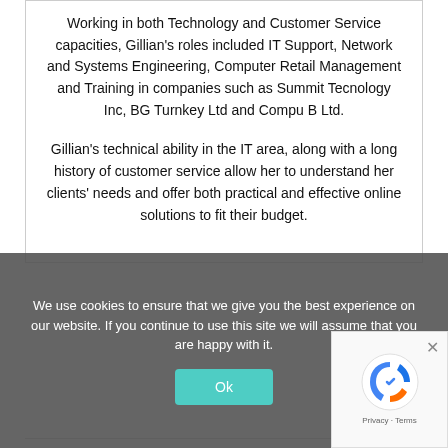Working in both Technology and Customer Service capacities, Gillian's roles included IT Support, Network and Systems Engineering, Computer Retail Management and Training in companies such as Summit Tecnology Inc, BG Turnkey Ltd and Compu B Ltd.
Gillian's technical ability in the IT area, along with a long history of customer service allow her to understand her clients' needs and offer both practical and effective online solutions to fit their budget.
[Figure (logo): LinkedIn logo icon (in)]
We use cookies to ensure that we give you the best experience on our website. If you continue to use this site we will assume that you are happy with it.